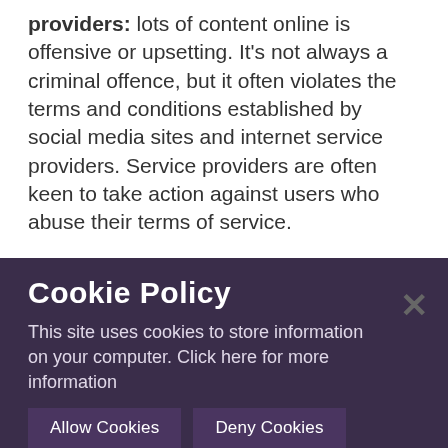providers: lots of content online is offensive or upsetting. It's not always a criminal offence, but it often violates the terms and conditions established by social media sites and internet service providers. Service providers are often keen to take action against users who abuse their terms of service.
If you believe that you are the victim of online bullying, keep a record of the content (for example, take a screenshot). You can use this to help your report to the service provider and, if necessary, the police.
[Figure (screenshot): Cookie Policy modal overlay on a dark semi-transparent background. Title: 'Cookie Policy'. Body text: 'This site uses cookies to store information on your computer. Click here for more information'. Two buttons: 'Allow Cookies' and 'Deny Cookies'. A close X button in the top right. An exclamation mark icon at the bottom left.]